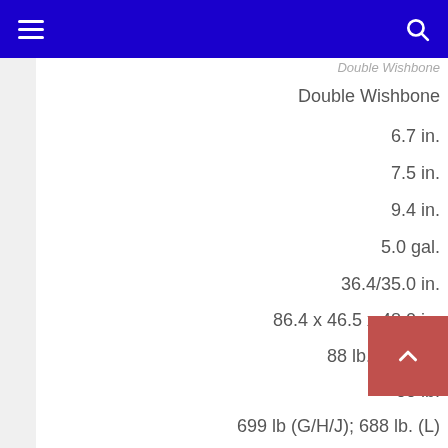Navigation bar with menu and search
Double Wishbone
6.7 in.
7.5 in.
9.4 in.
5.0 gal.
36.4/35.0 in.
86.4 x 46.5 x 48.0 in.
88 lb. / 176 lb.
88 lb.
699 lb (G/H/J); 688 lb. (L)
12 months